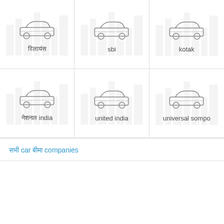[Figure (illustration): Car insurance company icon with car and city background - Hindi text label]
[Figure (illustration): Car insurance company icon with car and city background - sbi label]
[Figure (illustration): Car insurance company icon with car and city background - kotak label]
[Figure (illustration): Car insurance company icon with car and city background - Hindi text india label]
[Figure (illustration): Car insurance company icon with car and city background - united india label]
[Figure (illustration): Car insurance company icon with car and city background - universal sompo label]
सभी car बीमा companies
बीमाकर्ताओं सूची देखें बीमाकर्ताओं